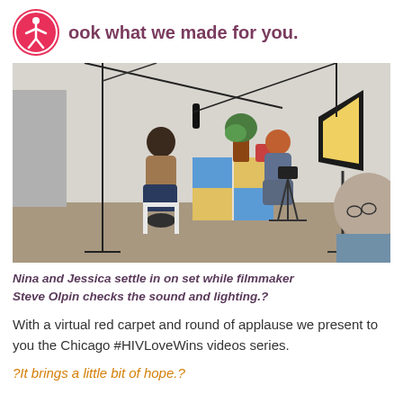ook what we made for you.
[Figure (photo): Film production set with two women sitting and being filmed, with lighting equipment and a filmmaker checking sound and lighting in the foreground.]
Nina and Jessica settle in on set while filmmaker Steve Olpin checks the sound and lighting.?
With a virtual red carpet and round of applause we present to you the Chicago #HIVLoveWins videos series.
?It brings a little bit of hope.?